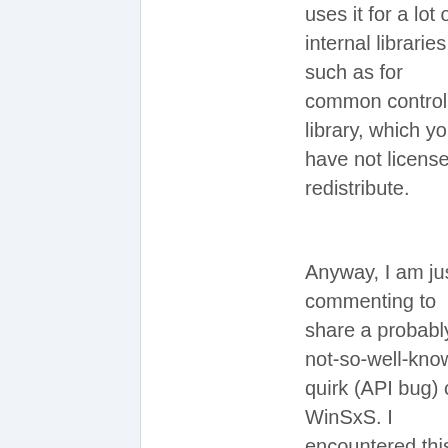uses it for a lot of internal libraries, such as for common controls library, which you have not license to redistribute.
Anyway, I am just commenting to share a probably not-so-well-known quirk (API bug) of WinSxS. I encountered this when I tried to programmatic